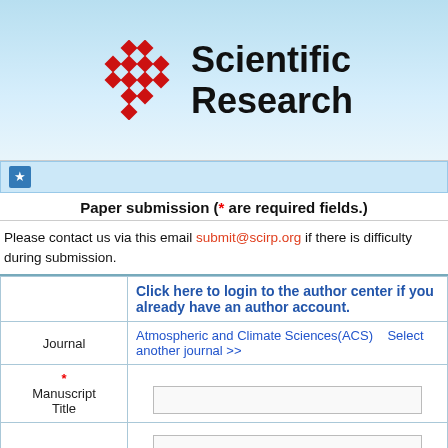[Figure (logo): Scientific Research logo with red diamond grid pattern and bold text 'Scientific Research']
Paper submission (* are required fields.)
Please contact us via this email submit@scirp.org if there is difficulty during submission.
| Click here to login to the author center if you already have an author account. |
| Journal | Atmospheric and Climate Sciences(ACS)    Select another journal >> |
| * Manuscript Title |  |
|  |  |